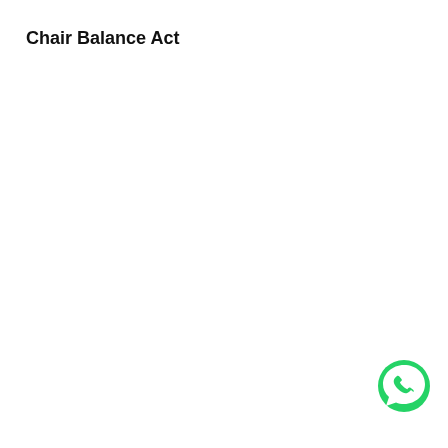Chair Balance Act
[Figure (logo): WhatsApp logo — green circle with white phone handset icon and chat bubble]